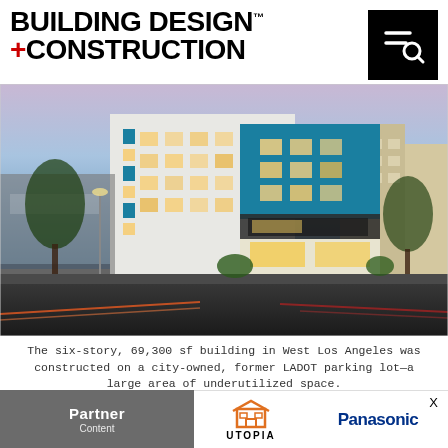BUILDING DESIGN +CONSTRUCTION
[Figure (photo): Exterior photograph of a six-story mixed-use residential building in West Los Angeles at dusk. The building features white/cream stucco and a prominent blue (teal) accent volume on the upper floors. Warm interior lighting is visible through windows. Street-level view with light trails from passing vehicles.]
The six-story, 69,300 sf building in West Los Angeles was constructed on a city-owned, former LADOT parking lot—a large area of underutilized space.
[Figure (logo): Partner section with gray background showing 'Partner' text, Utopia logo (orange building outline icon with UTOPIA text), and Panasonic logo in blue.]